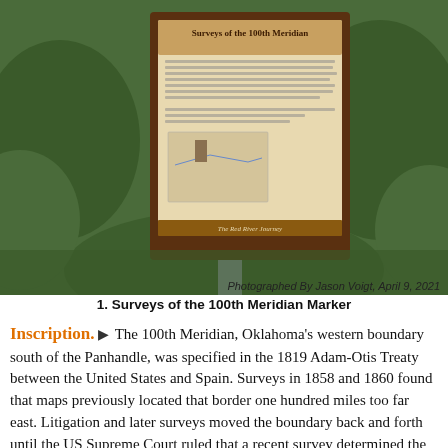[Figure (photo): Photograph of a historical marker sign titled 'Surveys of the 100th Meridian' mounted on a post in front of green bushes. The sign contains text about the 100th Meridian being Oklahoma's western boundary and a small map diagram. The sign footer reads 'The Red River Journey'.]
Photographed By Jason Voigt, April 9, 2021
1. Surveys of the 100th Meridian Marker
Inscription. ▶ The 100th Meridian, Oklahoma's western boundary south of the Panhandle, was specified in the 1819 Adam-Otis Treaty between the United States and Spain. Surveys in 1858 and 1860 found that maps previously located that border one hundred miles too far east. Litigation and later surveys moved the boundary back and forth until the US Supreme Court ruled that a recent survey determined the true